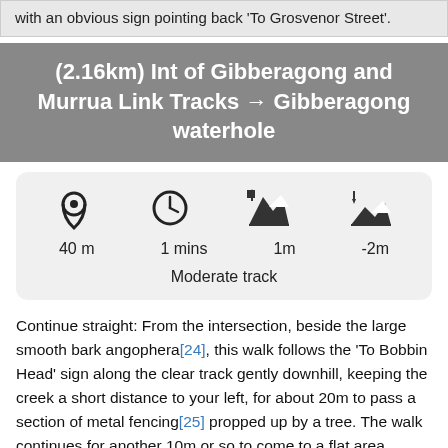with an obvious sign pointing back 'To Grosvenor Street'.
(2.16km) Int of Gibberagong and Murrua Link Tracks → Gibberagong waterhole
[Figure (infographic): Stats box with icons and values: 40 m distance, 1 mins time, 1m elevation gain, -2m elevation loss, Moderate track]
Continue straight: From the intersection, beside the large smooth bark angophera[24], this walk follows the 'To Bobbin Head' sign along the clear track gently downhill, keeping the creek a short distance to your left, for about 20m to pass a section of metal fencing[25] propped up by a tree. The walk continues for another 10m or so to come to a flat area beside[26] the northern end of Gibberagong